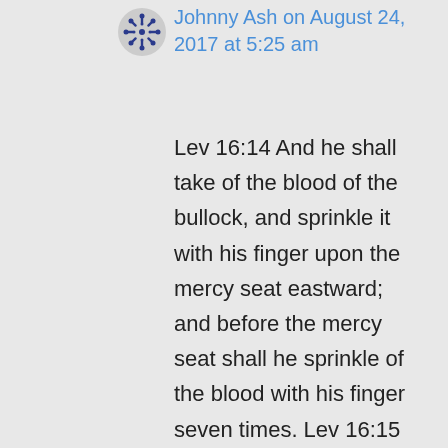[Figure (illustration): Avatar icon — dark blue snowflake/mandala style circular avatar for user Johnny Ash]
Johnny Ash on August 24, 2017 at 5:25 am
Lev 16:14 And he shall take of the blood of the bullock, and sprinkle it with his finger upon the mercy seat eastward; and before the mercy seat shall he sprinkle of the blood with his finger seven times. Lev 16:15 Then shall he kill the goat of the sin offering, that is for the people, and bring